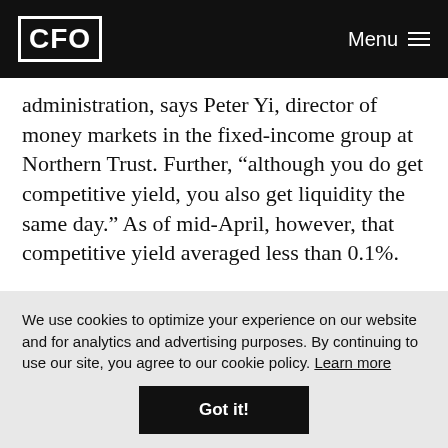CFO | Menu
administration, says Peter Yi, director of money markets in the fixed-income group at Northern Trust. Further, “although you do get competitive yield, you also get liquidity the same day.” As of mid-April, however, that competitive yield averaged less than 0.1%.
While liquidity plus a marginal gain brings some comfort, treasurers still need to perform due diligence on
We use cookies to optimize your experience on our website and for analytics and advertising purposes. By continuing to use our site, you agree to our cookie policy. Learn more
Got it!